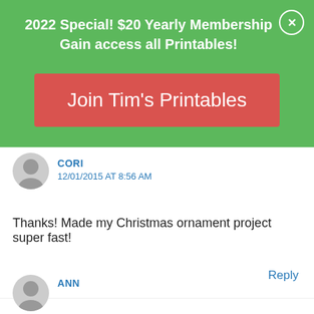2022 Special! $20 Yearly Membership
Gain access all Printables!
[Figure (other): Join Tim's Printables red button]
CORI
12/01/2015 AT 8:56 AM
Thanks! Made my Christmas ornament project super fast!
Reply
ANN